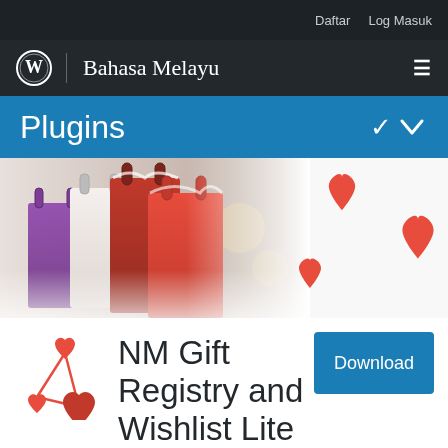Daftar   Log Masuk
Bahasa Melayu
Plugins
[Figure (photo): Person holding multiple colorful shopping bags, with floating red heart shapes on white background to the right]
[Figure (logo): NM Gift Registry plugin logo: red heart network/triangle icon]
NM Gift Registry and Wishlist Lite